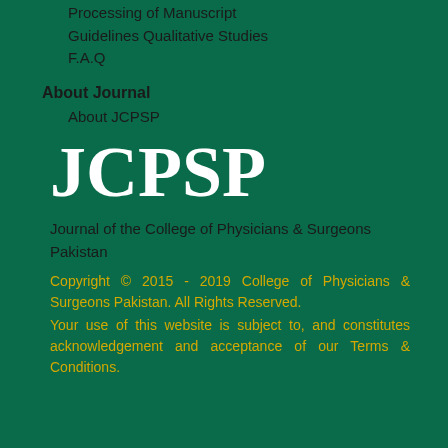Processing of Manuscript
Guidelines Qualitative Studies
F.A.Q
About Journal
About JCPSP
JCPSP
Journal of the College of Physicians & Surgeons Pakistan
Copyright © 2015 - 2019 College of Physicians & Surgeons Pakistan. All Rights Reserved.
Your use of this website is subject to, and constitutes acknowledgement and acceptance of our Terms & Conditions.